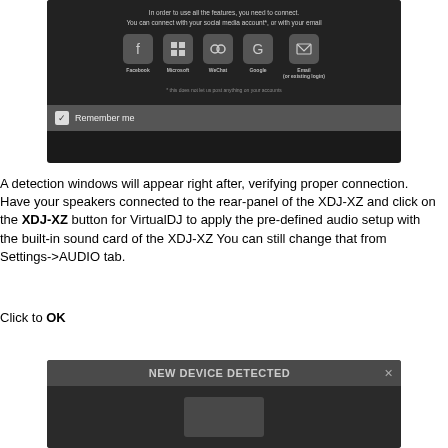[Figure (screenshot): Dark-themed login dialog showing social login options: Facebook, Microsoft, WeChat, Google, Email (or existing login), with a Remember me checkbox at the bottom]
A detection windows will appear right after, verifying proper connection. Have your speakers connected to the rear-panel of the XDJ-XZ and click on the XDJ-XZ button for VirtualDJ to apply the pre-defined audio setup with the built-in sound card of the XDJ-XZ You can still change that from Settings->AUDIO tab.
Click to OK
[Figure (screenshot): Dark dialog box showing 'NEW DEVICE DETECTED' title bar with close X button and device content area below]